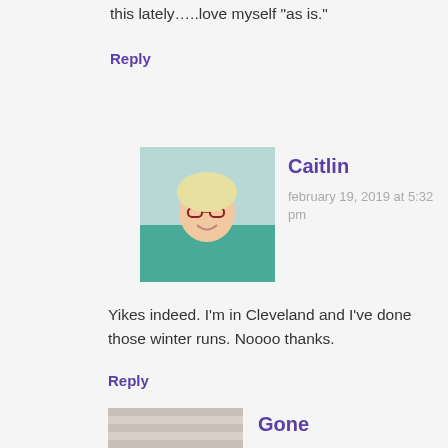this lately…..love myself "as is."
Reply
[Figure (photo): Avatar photo of Caitlin, a woman with glasses and blonde hair wearing a teal shirt]
Caitlin
february 19, 2019 at 5:32 pm
Yikes indeed. I'm in Cleveland and I've done those winter runs. Noooo thanks.
Reply
[Figure (photo): Avatar photo of Gone, showing a cat curled up on a striped surface]
Gone
february 20, 2019 at 1:51 am